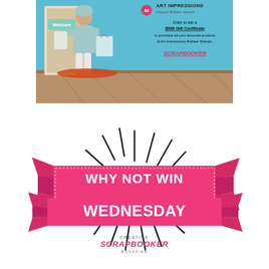[Figure (illustration): Art Impressions advertisement showing a cartoon woman sitting at a doorstep with shopping bags, 'Welcome' sign visible. Text reads: Art Impressions Original Rubber Stamps. Enter to win a $500 Gift Certificate to purchase all your favourite products at Art Impressions Rubber Stamps. SCRAPBOOKER]
[Figure (logo): Why Not Win Wednesday logo with pink ribbon banner and starburst rays. Text: WHY NOT WIN WEDNESDAY. CREATIVE SCRAPBOOKER MAGAZINE]